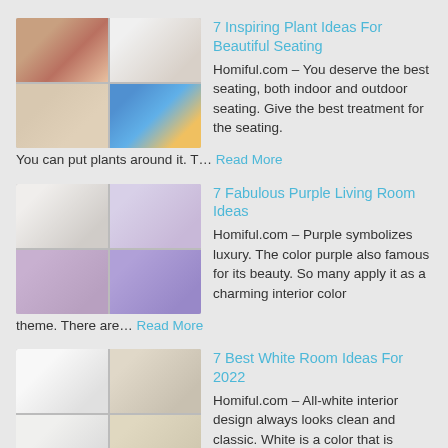[Figure (photo): Collage of 4 indoor/outdoor seating area photos with plants]
7 Inspiring Plant Ideas For Beautiful Seating
Homiful.com – You deserve the best seating, both indoor and outdoor seating. Give the best treatment for the seating. You can put plants around it. T… Read More
[Figure (photo): Collage of 4 purple living room interior photos]
7 Fabulous Purple Living Room Ideas
Homiful.com – Purple symbolizes luxury. The color purple also famous for its beauty. So many apply it as a charming interior color theme. There are… Read More
[Figure (photo): Collage of 4 white room interior photos]
7 Best White Room Ideas For 2022
Homiful.com – All-white interior design always looks clean and classic. White is a color that is synonymous with purity and and chastity. The design … Read More